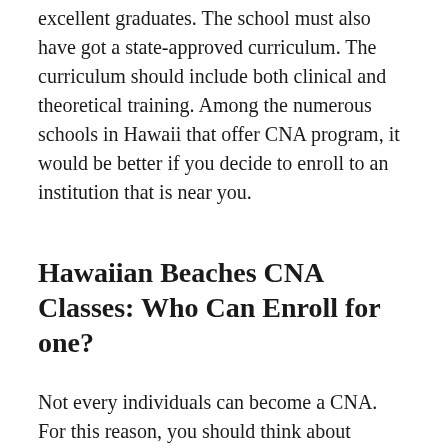excellent graduates. The school must also have got a state-approved curriculum. The curriculum should include both clinical and theoretical training. Among the numerous schools in Hawaii that offer CNA program, it would be better if you decide to enroll to an institution that is near you.
Hawaiian Beaches CNA Classes: Who Can Enroll for one?
Not every individuals can become a CNA. For this reason, you should think about whether this is the career path you want to pursue before enrolling. Since being a CNA will automatically mean that you're part of the healthcare team, you should be patient, caring and compassionate in this profession. Some people often end up getting disappointed simply because they do not have these features